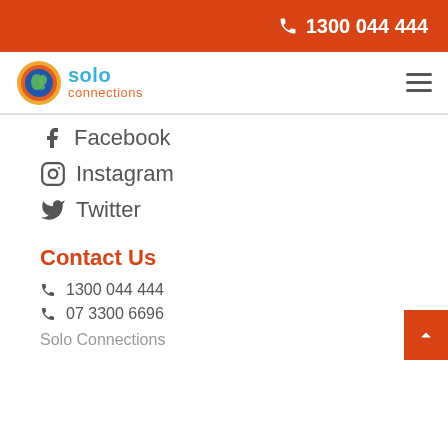1300 044 444
[Figure (logo): Solo Connections logo with globe icon]
Facebook
Instagram
Twitter
Contact Us
1300 044 444
07 3300 6696
Solo Connections